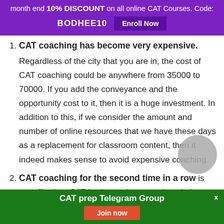month end 10% DISCOUNT on all online CAT Courses. Code: BODHEE10 Enroll Now
CAT coaching has become very expensive. Regardless of the city that you are in, the cost of CAT coaching could be anywhere from 35000 to 70000. If you add the conveyance and the opportunity cost to it, then it is a huge investment. In addition to this, if we consider the amount and number of online resources that we have these days as a replacement for classroom content, then it indeed makes sense to avoid expensive coaching.
CAT coaching for the second time in a row is not effective. CAT institutes do not update their
CAT prep Telegram Group Join now